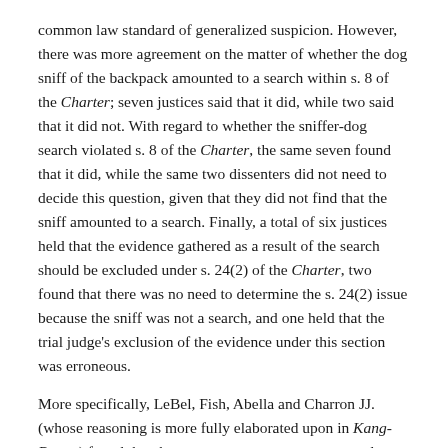common law standard of generalized suspicion. However, there was more agreement on the matter of whether the dog sniff of the backpack amounted to a search within s. 8 of the Charter; seven justices said that it did, while two said that it did not. With regard to whether the sniffer-dog search violated s. 8 of the Charter, the same seven found that it did, while the same two dissenters did not need to decide this question, given that they did not find that the sniff amounted to a search. Finally, a total of six justices held that the evidence gathered as a result of the search should be excluded under s. 24(2) of the Charter, two found that there was no need to determine the s. 24(2) issue because the sniff was not a search, and one held that the trial judge's exclusion of the evidence under this section was erroneous.
More specifically, LeBel, Fish, Abella and Charron JJ. (whose reasoning is more fully elaborated upon in Kang-Brown) found that there was no statutory or common law authority for the sniffer-dog search, and that the search therefore